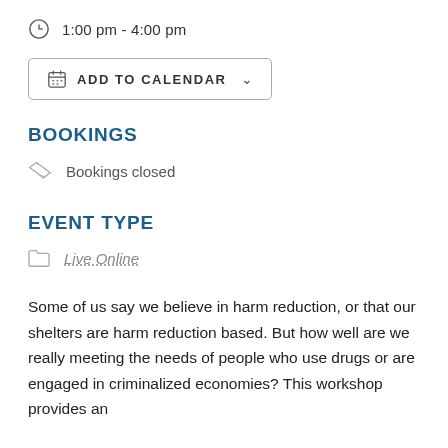1:00 pm - 4:00 pm
ADD TO CALENDAR
BOOKINGS
Bookings closed
EVENT TYPE
Live Online
Some of us say we believe in harm reduction, or that our shelters are harm reduction based. But how well are we really meeting the needs of people who use drugs or are engaged in criminalized economies? This workshop provides an